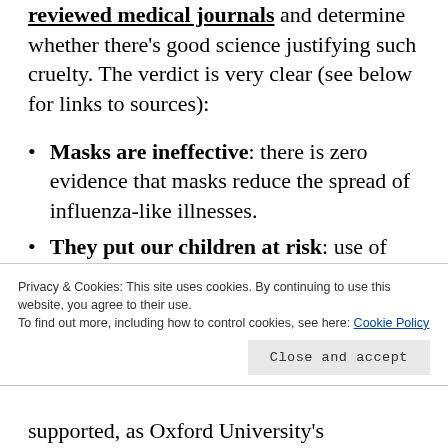reviewed medical journals and determine whether there's good science justifying such cruelty. The verdict is very clear (see below for links to sources):
Masks are ineffective: there is zero evidence that masks reduce the spread of influenza-like illnesses.
They put our children at risk: use of cloth masks increases the
Privacy & Cookies: This site uses cookies. By continuing to use this website, you agree to their use. To find out more, including how to control cookies, see here: Cookie Policy
supported, as Oxford University's